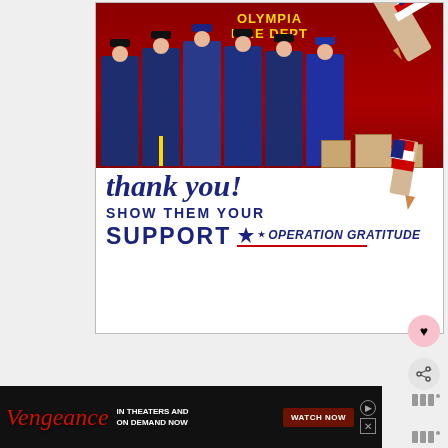[Figure (photo): Advertisement for Operation Gratitude showing firefighters from Olympia Fire Dept in uniforms standing in front of a fire truck holding supplies, with 'thank you!' in cursive script, a pencil graphic with American flag design, and text 'SHOW THEM YOUR SUPPORT OPERATION GRATITUDE']
[Figure (photo): Advertisement for the movie 'Vengeance' with red cursive logo on dark background, text 'IN THEATERS AND ON DEMAND NOW' and a 'WATCH NOW' button]